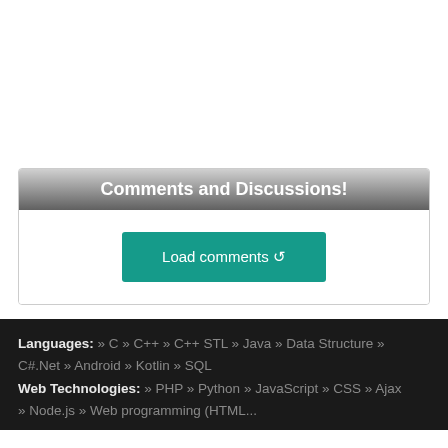Comments and Discussions!
Load comments ↺
Languages: » C » C++ » C++ STL » Java » Data Structure » C#.Net » Android » Kotlin » SQL
Web Technologies: » PHP » Python » JavaScript » CSS » Ajax » Node.js » Web programming (HTML...